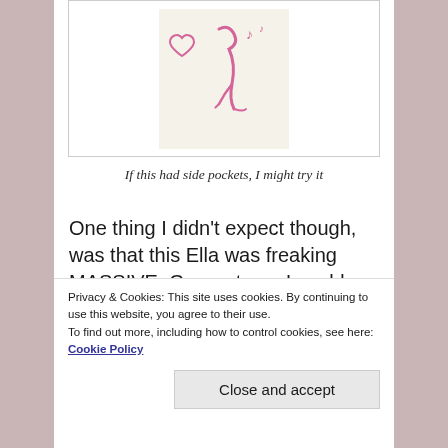[Figure (photo): Product image of a tote bag with pink flamingo and heart design on a cream/off-white background, displayed in a white bordered box]
If this had side pockets, I might try it
One thing I didn't expect though, was that this Ella was freaking MASSIVE. Gargantuan. I could have fit two of my
Privacy & Cookies: This site uses cookies. By continuing to use this website, you agree to their use.
To find out more, including how to control cookies, see here: Cookie Policy
Close and accept
online and remembered that not